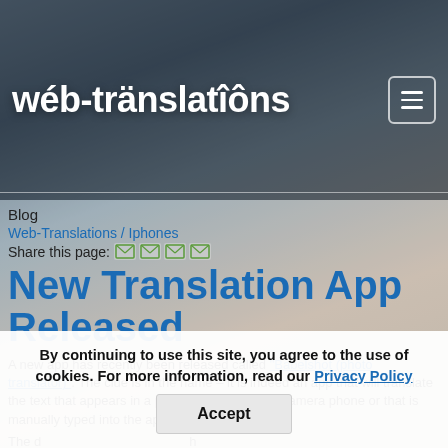wéb-tränslatîôns
Blog
Web-Translations / Iphones
Share this page:
New Translation App Released
A new app has recently been released called "Babelshot (photo translator)". The clue is in the name – it is indeed an app that will translate the text that appears in a photo taken with your camera phone or that is manually typed into the app.
The d... to Ko... ould be left stranded wi... ards that the app can translat... an var from sign...
By continuing to use this site, you agree to the use of cookies. For more information, read our Privacy Policy
Accept